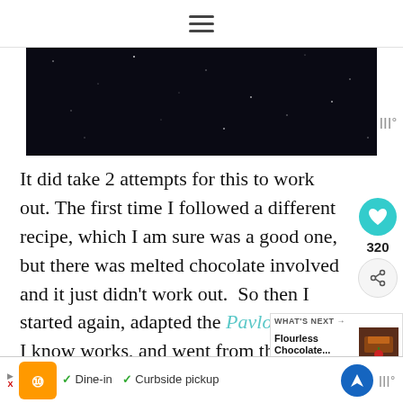☰ (hamburger menu icon)
[Figure (photo): Dark/black background hero image, starfield or night sky appearance]
It did take 2 attempts for this to work out. The first time I followed a different recipe, which I am sure was a good one, but there was melted chocolate involved and it just didn't work out. So then I started again, adapted the Pavlova recipe I know works, and went from there. I used an almond flavored, freshly whipped cream as a "frosting". There is almond extract in with
[Figure (infographic): Like button (teal circle with heart), count 320, share button]
[Figure (infographic): What's Next thumbnail: Flourless Chocolate... with brown cake image and red cherry]
[Figure (infographic): Advertisement bar: Dine-in and Curbside pickup with restaurant logo, navigation button]